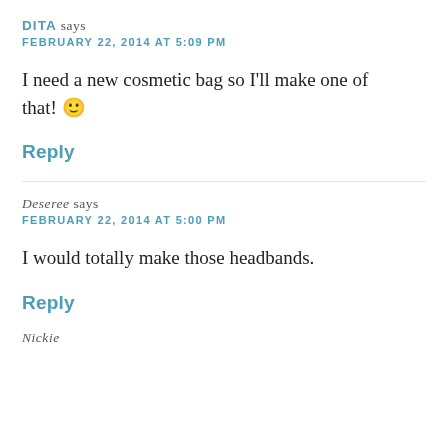DITA says
FEBRUARY 22, 2014 AT 5:09 PM
I need a new cosmetic bag so I'll make one of that! 🙂
Reply
Deseree says
FEBRUARY 22, 2014 AT 5:00 PM
I would totally make those headbands.
Reply
Nickie